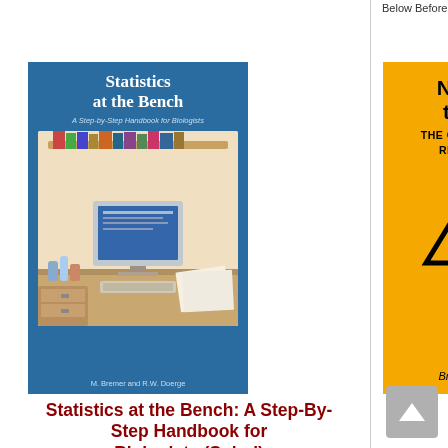Below Before Ordering
[Figure (illustration): Book cover of 'Statistics at the Bench: A Step-By-Step Handbook for Biologists' showing a laboratory desk scene with computer and lab equipment, blue background. Authors: M. Bremer and R.W. Doerge]
Statistics at the Bench: A Step-By-Step Handbook for Biologists (Spiral)
By Rebecca W. Doerge, Martina Bremer
$73.20
ADD TO CART
[Figure (illustration): Book cover of 'Not even trying... THE CORRUPTION OF REAL SCIENCE' by Bruce G Charlton, orange background with biohazard triangle warning symbol]
Not Even Trying: The Corruption of Real Science (Paperback)
By Bruce G. Charlton
$16.50
ADD TO CART
ADD TO